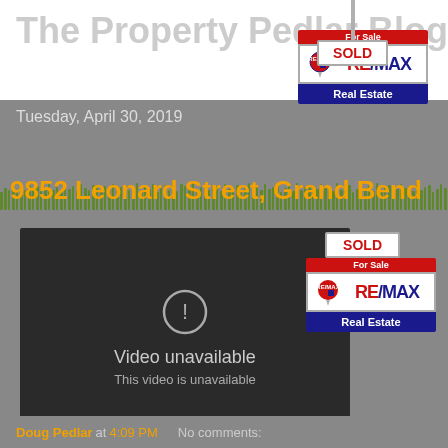The Property Pedlar Blog
[Figure (logo): RE/MAX Real Estate For Sale sign with SOLD banner on top]
Tuesday, April 30, 2019
9852 Leonard Street, Grand Bend
[Figure (screenshot): YouTube video embed showing 'Video unavailable / This video is unavailable' message with play button]
[Figure (logo): Second RE/MAX Real Estate For Sale sign with SOLD banner]
Doug Pedlar at 4:09 PM   No comments: